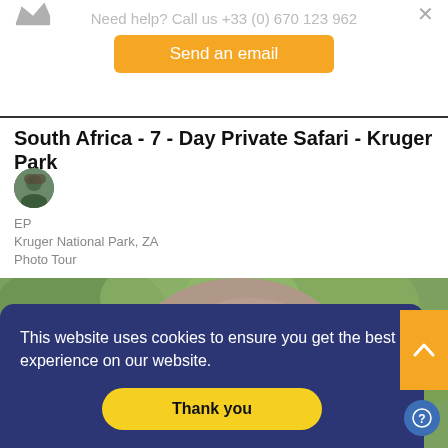Need help? Call us +33 (0) 670 123 962
Send an email
South Africa - 7 - Day Private Safari - Kruger Park
EP
Kruger National Park, ZA
Photo Tour
[Figure (photo): Close-up photo of a baby elephant with blurred green background]
This website uses cookies to ensure you get the best experience on our website.
Thank you